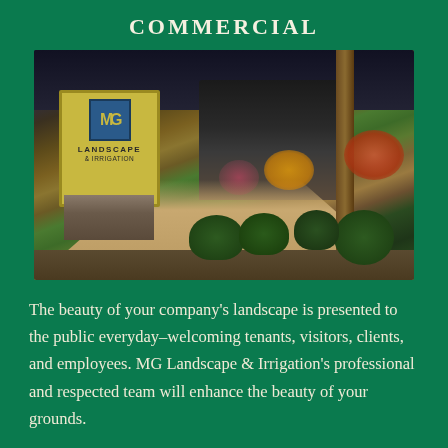COMMERCIAL
[Figure (photo): Photo of MG Landscape & Irrigation display/showroom featuring a company sign in the foreground with stone base, a decorative water feature, paved walkway, and various shrubs, flowers, and trees in a landscaped setting.]
The beauty of your company's landscape is presented to the public everyday–welcoming tenants, visitors, clients, and employees. MG Landscape & Irrigation's professional and respected team will enhance the beauty of your grounds.